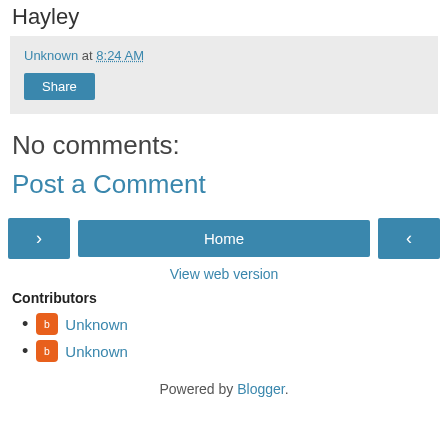Hayley
Unknown at 8:24 AM
Share
No comments:
Post a Comment
< Home >
View web version
Contributors
Unknown
Unknown
Powered by Blogger.